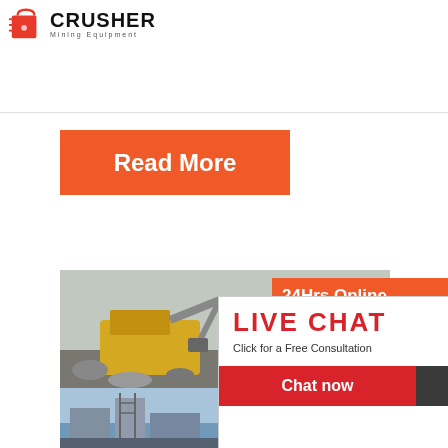[Figure (logo): Crusher Mining Equipment logo with orange shopping bag icon and bold CRUSHER text]
Read More
[Figure (photo): Mining equipment scene with excavator and rubble in grey/yellow tones]
[Figure (photo): Live Chat popup overlay showing workers in hard hats, LIVE CHAT title in red, Click for a Free Consultation subtitle, Chat now and Chat later buttons]
[Figure (photo): Right sidebar showing 24Hrs Online header, female agent with headset, Need questions & suggestion? panel with Chat Now button, Enquiry link, limingjlmofen@sina.com email]
Read
[Figure (photo): Industrial building/factory image in blue-grey tones]
What
of Things